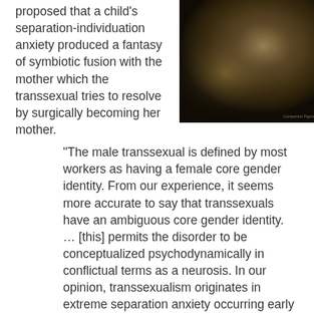proposed that a child's separation-individuation anxiety produced a fantasy of symbiotic fusion with the mother which the transsexual tries to resolve by surgically becoming her mother.
[Figure (photo): Dark, hazy atmospheric photograph with warm brown and golden tones, showing what appears to be cloudy or misty sky.]
“The male transsexual is defined by most workers as having a female core gender identity. From our experience, it seems more accurate to say that transsexuals have an ambiguous core gender identity. … [this] permits the disorder to be conceptualized psychodynamically in conflictual terms as a neurosis. In our opinion, transsexualism originates in extreme separation anxiety occurring early in life, before object differentiation has been accomplished. To alleviate the anxiety, the child resorts to a fantasy of symbiotic fusion with the mother. In this way,